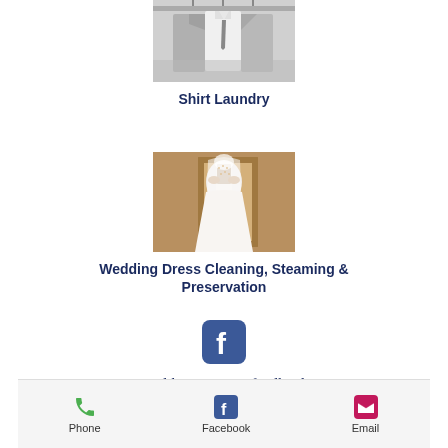[Figure (photo): Black and white photo of dress shirts and suits hanging on hangers]
Shirt Laundry
[Figure (photo): Color photo of a white wedding dress displayed on a mannequin or hanger in an ornate setting]
Wedding Dress Cleaning, Steaming & Preservation
[Figure (logo): Facebook logo icon - blue rounded square with white 'f']
We'd love to your feedback!
Phone   Facebook   Email